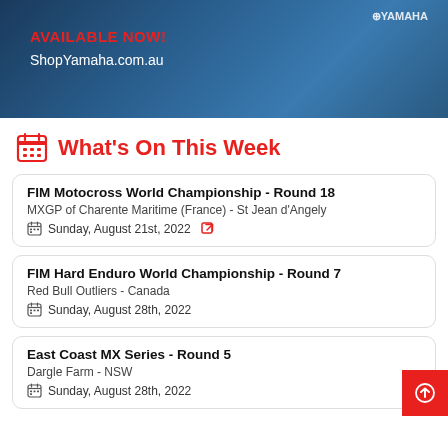[Figure (photo): Yamaha promotional banner showing a person in blue Yamaha racing jacket with text 'AVAILABLE NOW!' in red and 'ShopYamaha.com.au' in white]
What's On This Week
FIM Motocross World Championship - Round 18
MXGP of Charente Maritime (France) - St Jean d'Angely
Sunday, August 21st, 2022
FIM Hard Enduro World Championship - Round 7
Red Bull Outliers - Canada
Sunday, August 28th, 2022
East Coast MX Series - Round 5
Dargle Farm - NSW
Sunday, August 28th, 2022